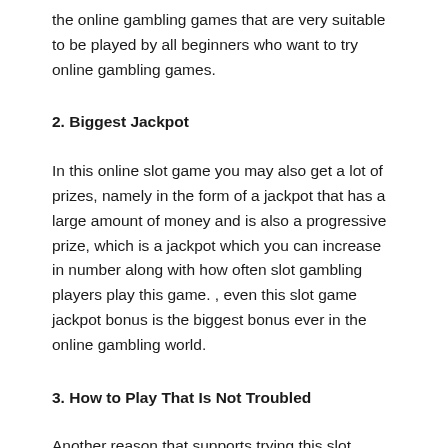the online gambling games that are very suitable to be played by all beginners who want to try online gambling games.
2. Biggest Jackpot
In this online slot game you may also get a lot of prizes, namely in the form of a jackpot that has a large amount of money and is also a progressive prize, which is a jackpot which you can increase in number along with how often slot gambling players play this game. , even this slot game jackpot bonus is the biggest bonus ever in the online gambling world.
3. How to Play That Is Not Troubled
Another reason that supports trying this slot gambling game is that how to play this bet is considered not only easy and also hassle-free, where you can also play this slot game online anywhere and you only need to register and